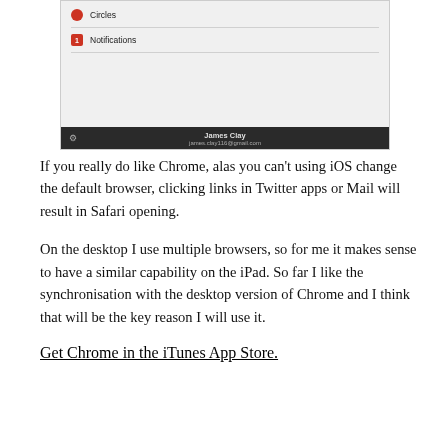[Figure (screenshot): Screenshot of a Google+ app menu showing 'Circles' with a red circle icon and 'Notifications' with a red badge icon, followed by a gray empty area, and a dark footer bar showing 'James Clay' and email 'james.clay116@gmail.com' with a gear icon on the left.]
If you really do like Chrome, alas you can’t using iOS change the default browser, clicking links in Twitter apps or Mail will result in Safari opening.
On the desktop I use multiple browsers, so for me it makes sense to have a similar capability on the iPad. So far I like the synchronisation with the desktop version of Chrome and I think that will be the key reason I will use it.
Get Chrome in the iTunes App Store.